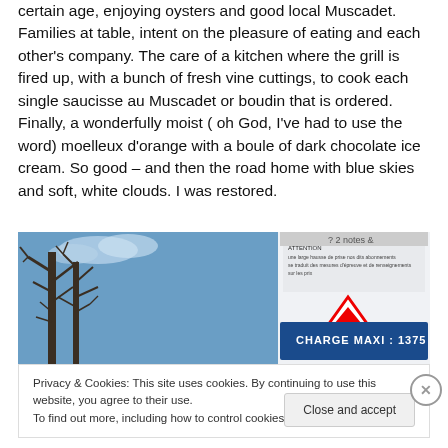certain age, enjoying oysters and good local Muscadet. Families at table, intent on the pleasure of eating and each other's company. The care of a kitchen where the grill is fired up, with a bunch of fresh vine cuttings, to cook each single saucisse au Muscadet or boudin that is ordered. Finally, a wonderfully moist ( oh God, I've had to use the word) moelleux d'orange with a boule of dark chocolate ice cream. So good – and then the road home with blue skies and soft, white clouds. I was restored.
[Figure (photo): Outdoor photo showing bare winter trees against a blue sky, with a French road sign reading 'CHARGE MAXI - 1375 KG' and other signage visible.]
Privacy & Cookies: This site uses cookies. By continuing to use this website, you agree to their use.
To find out more, including how to control cookies, see here: Cookie Policy